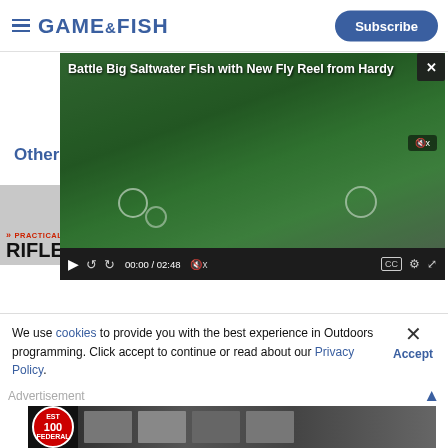GAME&FISH | Subscribe
[Figure (screenshot): Video player overlay showing 'Battle Big Saltwater Fish with New Fly Reel from Hardy' with two people holding fly reels, video controls showing 00:00 / 02:48]
Other Maga...
[Figure (screenshot): PRACTICAL DEER-BUL... and RIFLESHOOTER magazine thumbnail]
[Figure (screenshot): HUNTING magazine thumbnail]
We use cookies to provide you with the best experience in Outdoors programming. Click accept to continue or read about our Privacy Policy.
Advertisement
[Figure (photo): Federal Ammunition 100th anniversary advertisement with black and white photos of people]